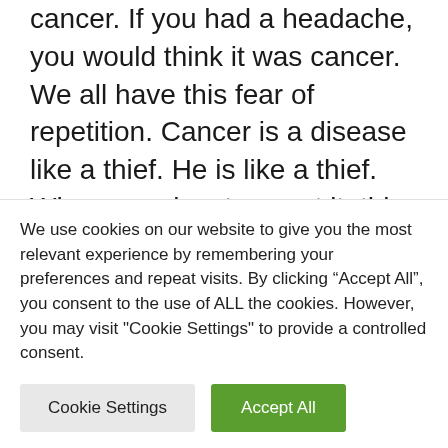cancer. If you had a headache, you would think it was cancer. We all have this fear of repetition. Cancer is a disease like a thief. He is like a thief. Where you least expect it, this is where it will come. So we all fear repetition.
The fact that we are discussing this between ourselves allows us to live with it. And then, after the treatment, we put something in
We use cookies on our website to give you the most relevant experience by remembering your preferences and repeat visits. By clicking “Accept All”, you consent to the use of ALL the cookies. However, you may visit "Cookie Settings" to provide a controlled consent.